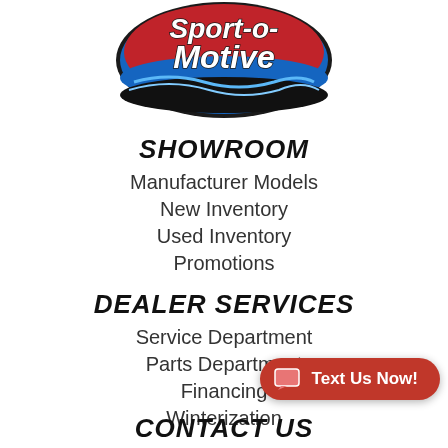[Figure (logo): Sport-o-Motive logo: oval shape with red background, blue wave, white stylized text reading Sport-o-Motive]
SHOWROOM
Manufacturer Models
New Inventory
Used Inventory
Promotions
DEALER SERVICES
Service Department
Parts Department
Financing
Winterization
CONTACT US